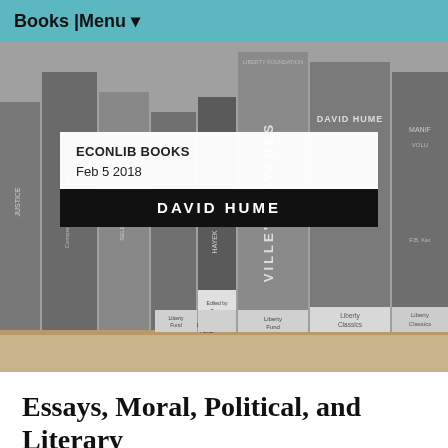Books | Menu ▾
[Figure (photo): Grayscale photograph of books on a shelf, including spines reading 'David Hume', 'Ville's Voyages', and other Liberty Fund publications. Overlaid with a white card reading 'ECONLIB BOOKS Feb 5 2018' and a black banner reading 'DAVID HUME'.]
Essays, Moral, Political, and Literary